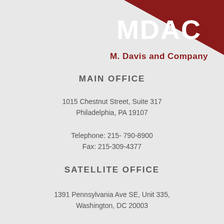[Figure (logo): MDAC M. Davis and Company logo with dark red triangle shape and text]
MAIN OFFICE
1015 Chestnut Street, Suite 317
Philadelphia, PA 19107
Telephone: 215- 790-8900
Fax: 215-309-4377
SATELLITE OFFICE
1391 Pennsylvania Ave SE, Unit 335,
Washington, DC 20003